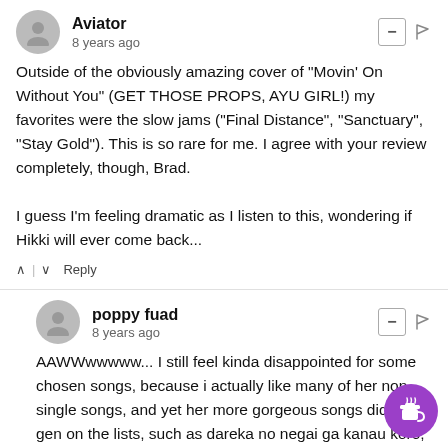Aviator
8 years ago
Outside of the obviously amazing cover of "Movin' On Without You" (GET THOSE PROPS, AYU GIRL!) my favorites were the slow jams ("Final Distance", "Sanctuary", "Stay Gold"). This is so rare for me. I agree with your review completely, though, Brad.

I guess I'm feeling dramatic as I listen to this, wondering if Hikki will ever come back...
poppy fuad
8 years ago
AAWWwwwww... I still feel kinda disappointed for some chosen songs, because i actually like many of her non-single songs, and yet her more gorgeous songs didn't gen on the lists, such as dareka no negai ga kanau koro, arashi no megami, and many more.. but still,